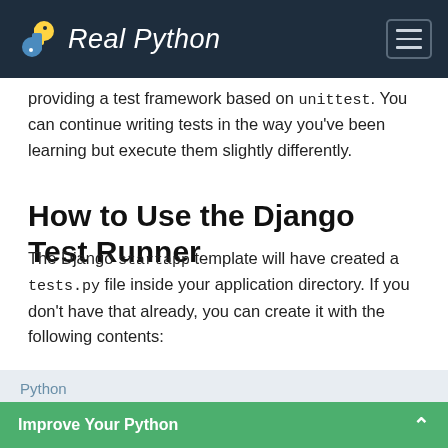Real Python
providing a test framework based on unittest. You can continue writing tests in the way you've been learning but execute them slightly differently.
How to Use the Django Test Runner
The Django startapp template will have created a tests.py file inside your application directory. If you don't have that already, you can create it with the following contents:
Python
from django.test import TestCase
Improve Your Python